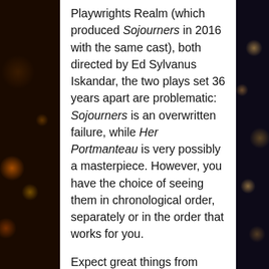Playwrights Realm (which produced Sojourners in 2016 with the same cast), both directed by Ed Sylvanus Iskandar, the two plays set 36 years apart are problematic: Sojourners is an overwritten failure, while Her Portmanteau is very possibly a masterpiece. However, you have the choice of seeing them in chronological order, separately or in the order that works for you.
Expect great things from Udofia in the future. Both plays demonstrate that she writes full-bodied, three-dimensional characters, while Her Portmanteau reveals that she can also write a play from the heart whose emotions will pull you in and stay with you long after the final curtain. Also keep your eye on Chinasa Ogbuagu: playing two different women 36 years apart she is totally unrecognizable, you have to read the program to discover that it is the same